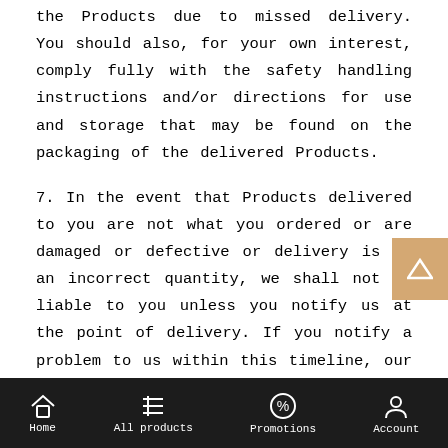the Products due to missed delivery. You should also, for your own interest, comply fully with the safety handling instructions and/or directions for use and storage that may be found on the packaging of the delivered Products.
7. In the event that Products delivered to you are not what you ordered or are damaged or defective or delivery is of an incorrect quantity, we shall not be liable to you unless you notify us at the point of delivery. If you notify a problem to us within this timeline, our only obligation will be:
For short or non-delivery of the Product(s)
Home   All products   Promotions   Account